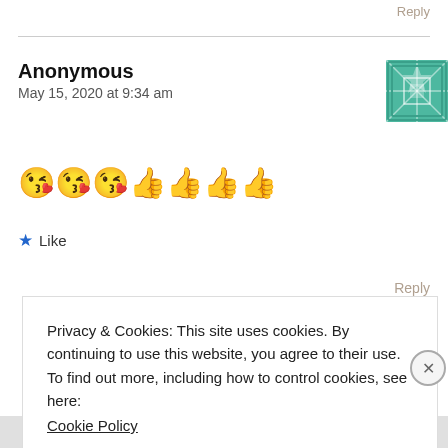Reply
Anonymous
May 15, 2020 at 9:34 am
😘😘😘👍👍👍👍
★ Like
Reply
Privacy & Cookies: This site uses cookies. By continuing to use this website, you agree to their use.
To find out more, including how to control cookies, see here:
Cookie Policy
Close and accept